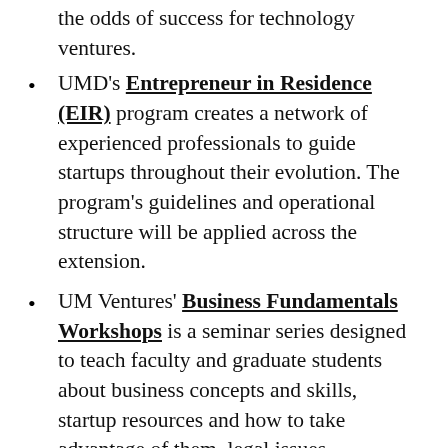the odds of success for technology ventures.
UMD's Entrepreneur in Residence (EIR) program creates a network of experienced professionals to guide startups throughout their evolution. The program's guidelines and operational structure will be applied across the extension.
UM Ventures' Business Fundamentals Workshops is a seminar series designed to teach faculty and graduate students about business concepts and skills, startup resources and how to take advantage of them, legal issues surrounding startups, and more. These workshops will be tailored to meet the needs of extension partners